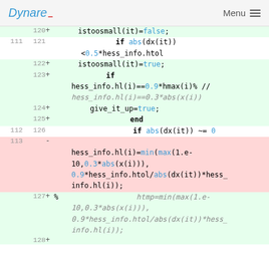Dynare | Menu
[Figure (screenshot): Code diff view showing lines 111-128 of a Dynare/MATLAB source file with added (green) and removed (red) lines. The diff shows changes to hess_info step-size logic including istoosmall, give_it_up flags, and hess_info.hl(i) update formula.]